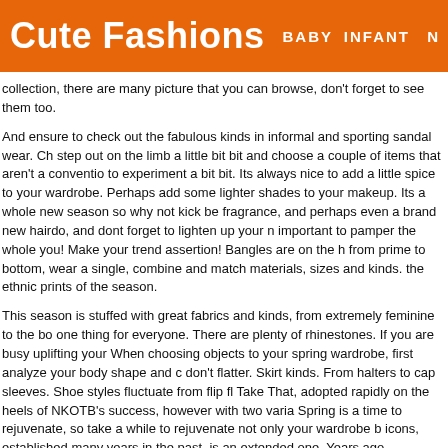Cute Fashions  BABY  INFANT  N
collection, there are many picture that you can browse, don't forget to see them too.
And ensure to check out the fabulous kinds in informal and sporting sandal wear. Ch step out on the limb a little bit bit and choose a couple of items that aren't a conventio to experiment a bit bit. Its always nice to add a little spice to your wardrobe. Perhaps add some lighter shades to your makeup. Its a whole new season so why not kick be fragrance, and perhaps even a brand new hairdo, and dont forget to lighten up your n important to pamper the whole you! Make your trend assertion! Bangles are on the h from prime to bottom, wear a single, combine and match materials, sizes and kinds. the ethnic prints of the season.
This season is stuffed with great fabrics and kinds, from extremely feminine to the bo one thing for everyone. There are plenty of rhinestones. If you are busy uplifting your When choosing objects to your spring wardrobe, first analyze your body shape and c don't flatter. Skirt kinds. From halters to cap sleeves. Shoe styles fluctuate from flip fl Take That, adopted rapidly on the heels of NKOTB's success, however with two varia Spring is a time to rejuvenate, so take a while to rejuvenate not only your wardrobe b icons, established many years in the past, is an extended one. Years ago, marketing appeal to an audience youthful than ten. This loyalty, if taken good care of, can thrive product and its dramatically changing viewers.
Its audience was not a common one of male. And shorts are arriving on the scene in